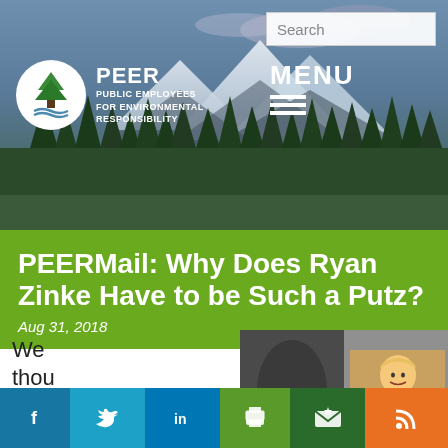[Figure (screenshot): PEER website header with mountain landscape background, PEER logo (tree in circle), organization name, MENU button, and search bar]
PEERMail: Why Does Ryan Zinke Have to be Such a Putz?
Aug 31, 2018
We thought
[Figure (photo): Photo showing dark fabric with Trump caricature socks next to a lighter image]
[Figure (screenshot): Social share buttons: Facebook, Twitter, LinkedIn, Print, Email, RSS]